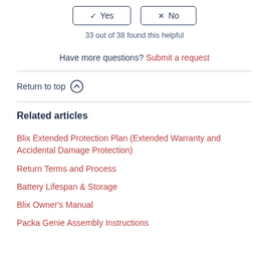33 out of 38 found this helpful
Have more questions? Submit a request
Return to top ↑
Related articles
Blix Extended Protection Plan (Extended Warranty and Accidental Damage Protection)
Return Terms and Process
Battery Lifespan & Storage
Blix Owner's Manual
Packa Genie Assembly Instructions